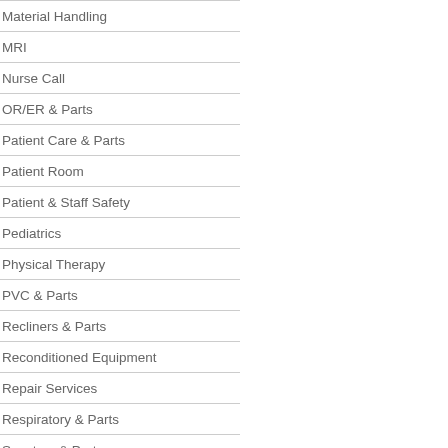Material Handling
MRI
Nurse Call
OR/ER & Parts
Patient Care & Parts
Patient Room
Patient & Staff Safety
Pediatrics
Physical Therapy
PVC & Parts
Recliners & Parts
Reconditioned Equipment
Repair Services
Respiratory & Parts
Scooters & Parts
Signs
Stainless Steel